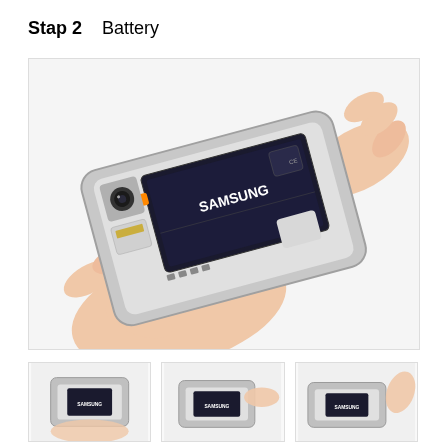Stap 2   Battery
[Figure (photo): Hands holding a Samsung Galaxy S5 smartphone with the back cover removed, showing the Samsung battery inside the phone's compartment. One hand supports the phone from below and the other finger is visible at the top right pressing on the battery.]
[Figure (photo): Small thumbnail showing the Samsung Galaxy S5 from a similar angle with back open.]
[Figure (photo): Small thumbnail showing the Samsung Galaxy S5 being handled, battery area visible.]
[Figure (photo): Small thumbnail showing a finger pressing on the battery of the Samsung Galaxy S5.]